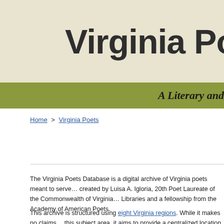Virginia Po
A Literary and
Home > Virginia Poets
The Virginia Poets Database is a digital archive of Virginia poets meant to serve… created by Luisa A. Igloria, 20th Poet Laureate of the Commonwealth of Virginia… Libraries and a fellowship from the Academy of American Poets.
This archive is structured using eight Virginia regions. While it makes no claims… this subject area, it aims to provide a centralized location of such information th…